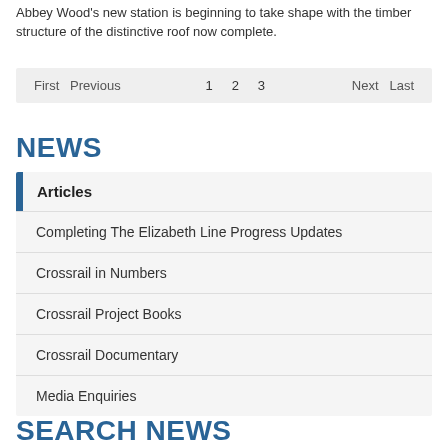Abbey Wood's new station is beginning to take shape with the timber structure of the distinctive roof now complete.
First  Previous  1  2  3  Next  Last
NEWS
Articles
Completing The Elizabeth Line Progress Updates
Crossrail in Numbers
Crossrail Project Books
Crossrail Documentary
Media Enquiries
SEARCH NEWS